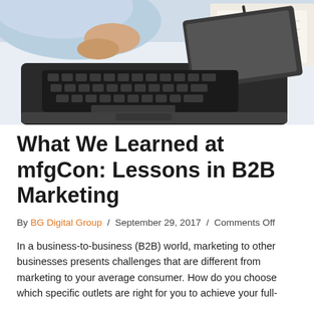[Figure (photo): Overhead view of a person in a light blue shirt working at a laptop computer, with papers and a notebook visible on the desk beside it.]
What We Learned at mfgCon: Lessons in B2B Marketing
By BG Digital Group / September 29, 2017 / Comments Off
In a business-to-business (B2B) world, marketing to other businesses presents challenges that are different from marketing to your average consumer. How do you choose which specific outlets are right for you to achieve your full-